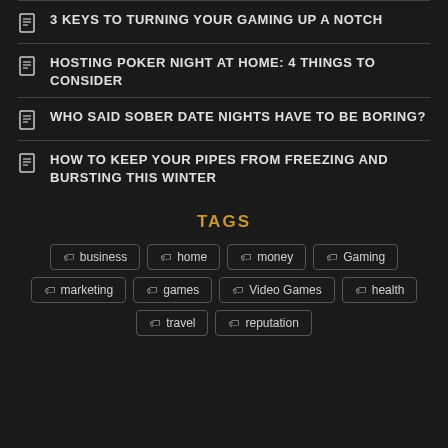3 KEYS TO TURNING YOUR GAMING UP A NOTCH
HOSTING POKER NIGHT AT HOME: 4 THINGS TO CONSIDER
WHO SAID SOBER DATE NIGHTS HAVE TO BE BORING?
HOW TO KEEP YOUR PIPES FROM FREEZING AND BURSTING THIS WINTER
TAGS
business
home
money
Gaming
marketing
games
Video Games
health
travel
reputation